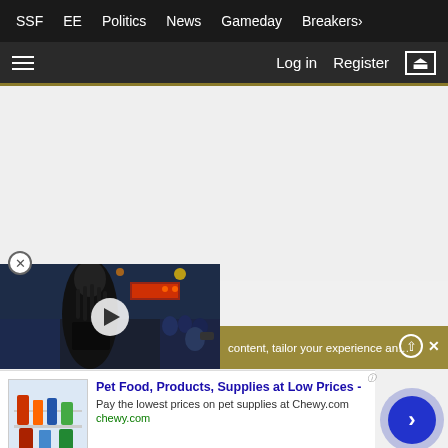SSF  EE  Politics  News  Gameday  Breakers
Log in  Register
[Figure (screenshot): Gray content area with close button and video thumbnail of football player in black uniform with play button overlay]
content, tailor your experience an
[Figure (photo): Advertisement: Pet Food, Products, Supplies at Low Prices - Pay the lowest prices on pet supplies at Chewy.com - chewy.com]
Pet Food, Products, Supplies at Low Prices -
Pay the lowest prices on pet supplies at Chewy.com
chewy.com